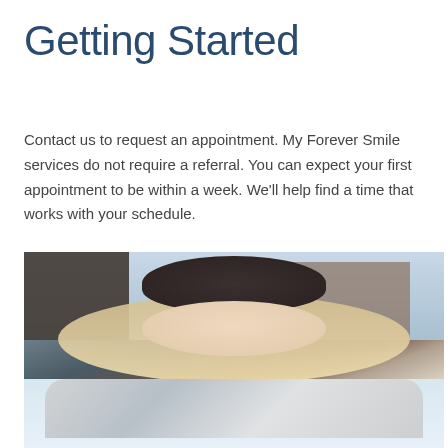Getting Started
Contact us to request an appointment. My Forever Smile services do not require a referral. You can expect your first appointment to be within a week. We'll help find a time that works with your schedule.
[Figure (photo): A smiling young woman with long blonde hair wearing a dark knit beanie hat and a light grey scarf, photographed outdoors in a snowy winter setting with buildings blurred in the background.]